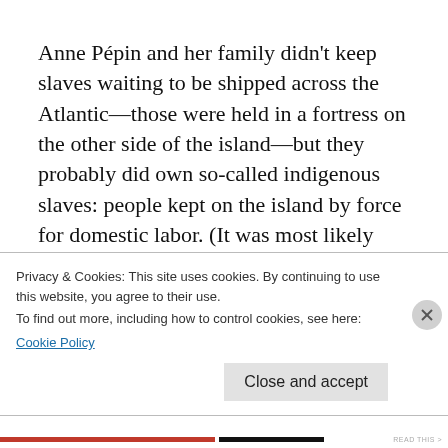Anne Pépin and her family didn't keep slaves waiting to be shipped across the Atlantic—those were held in a fortress on the other side of the island—but they probably did own so-called indigenous slaves: people kept on the island by force for domestic labor. (It was most likely indigenous slaves who built the Slave House and many other Gorée buildings.) This is another part of the Gorée story that isn't often
Privacy & Cookies: This site uses cookies. By continuing to use this website, you agree to their use.
To find out more, including how to control cookies, see here: Cookie Policy
Close and accept